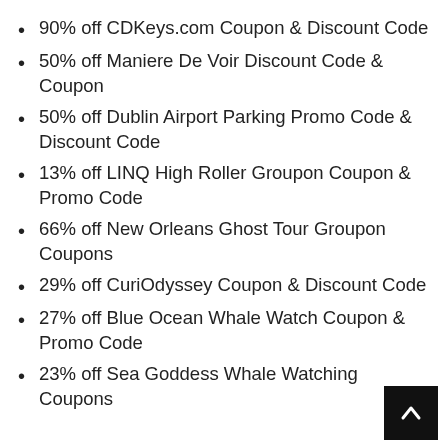90% off CDKeys.com Coupon & Discount Code
50% off Maniere De Voir Discount Code & Coupon
50% off Dublin Airport Parking Promo Code & Discount Code
13% off LINQ High Roller Groupon Coupon & Promo Code
66% off New Orleans Ghost Tour Groupon Coupons
29% off CuriOdyssey Coupon & Discount Code
27% off Blue Ocean Whale Watch Coupon & Promo Code
23% off Sea Goddess Whale Watching Coupons